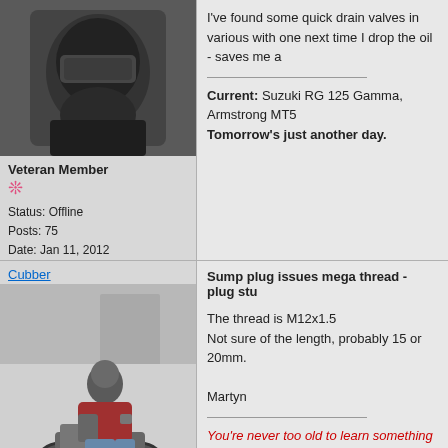[Figure (photo): Avatar photo of a motorcyclist wearing a full-face helmet and leather jacket, facing down]
Veteran Member
❊
Status: Offline
Posts: 75
Date: Jan 11, 2012
I've found some quick drain valves in various with one next time I drop the oil - saves me a
Current: Suzuki RG 125 Gamma, Armstrong MT5
Tomorrow's just another day.
Cubber
[Figure (photo): Black and white photo of a man in motorcycle gear riding a classic motorcycle on a street]
Super Guru
Sump plug issues mega thread - plug stu
The thread is M12x1.5
Not sure of the length, probably 15 or 20mm.

Martyn
You're never too old to learn something stupid
East Budleigh. Devon